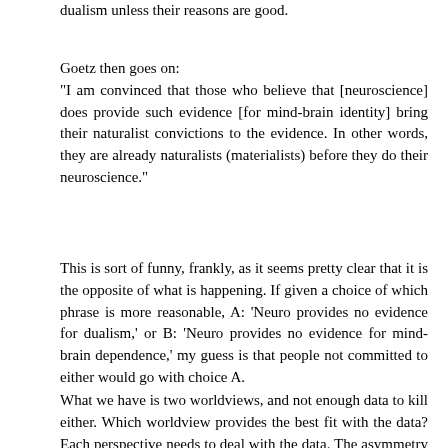dualism unless their reasons are good.
Goetz then goes on:
"I am convinced that those who believe that [neuroscience] does provide such evidence [for mind-brain identity] bring their naturalist convictions to the evidence. In other words, they are already naturalists (materialists) before they do their neuroscience."
This is sort of funny, frankly, as it seems pretty clear that it is the opposite of what is happening. If given a choice of which phrase is more reasonable, A: 'Neuro provides no evidence for dualism,' or B: 'Neuro provides no evidence for mind-brain dependence,' my guess is that people not committed to either would go with choice A.
What we have is two worldviews, and not enough data to kill either. Which worldview provides the best fit with the data? Each perspective needs to deal with the data. The asymmetry is that the neurocentric perspective is clearly a predictively fedund and expanding research program, constantly generating new data. In contrast, it isn't clear that the dualistic worldview has any legs. While Eccles (an